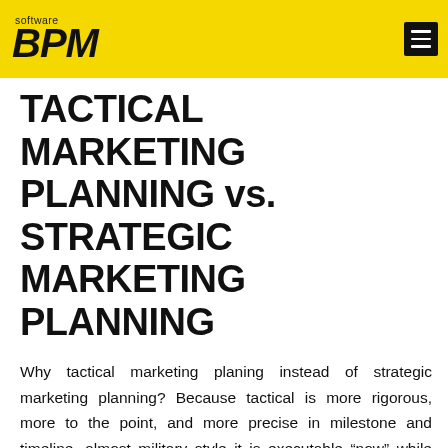BPM software
TACTICAL MARKETING PLANNING vs. STRATEGIC MARKETING PLANNING
Why tactical marketing planing instead of strategic marketing planning? Because tactical is more rigorous, more to the point, and more precise in milestone and timeline, almost military style it is executable “now” while strategic is still in the air. Online marketing is key to getting your business discovered as today 45% of the global population have access to the internet. Our powerful tools and staff training give you the upper-hand when competing for clients in your industry. Let us create a customized marketing tactical plan to get you ahead of your